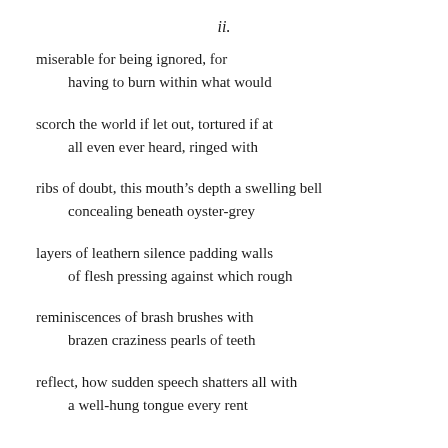ii.
miserable for being ignored, for
    having to burn within what would
scorch the world if let out, tortured if at
    all even ever heard, ringed with
ribs of doubt, this mouth’s depth a swelling bell
    concealing beneath oyster-grey
layers of leathern silence padding walls
    of flesh pressing against which rough
reminiscences of brash brushes with
    brazen craziness pearls of teeth
reflect, how sudden speech shatters all with
    a well-hung tongue every rent